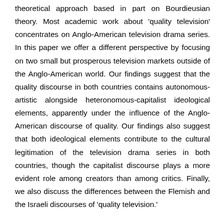theoretical approach based in part on Bourdieusian theory. Most academic work about 'quality television' concentrates on Anglo-American television drama series. In this paper we offer a different perspective by focusing on two small but prosperous television markets outside of the Anglo-American world. Our findings suggest that the quality discourse in both countries contains autonomous-artistic alongside heteronomous-capitalist ideological elements, apparently under the influence of the Anglo-American discourse of quality. Our findings also suggest that both ideological elements contribute to the cultural legitimation of the television drama series in both countries, though the capitalist discourse plays a more evident role among creators than among critics. Finally, we also discuss the differences between the Flemish and the Israeli discourses of 'quality television.'